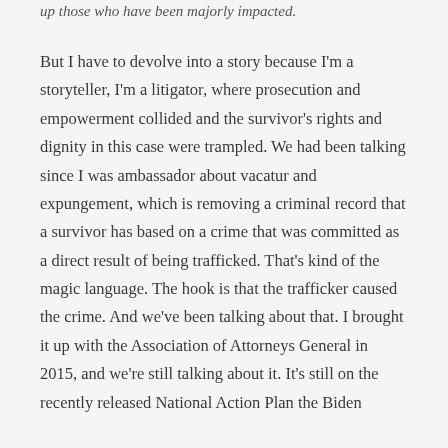up those who have been majorly impacted.
But I have to devolve into a story because I'm a storyteller, I'm a litigator, where prosecution and empowerment collided and the survivor's rights and dignity in this case were trampled. We had been talking since I was ambassador about vacatur and expungement, which is removing a criminal record that a survivor has based on a crime that was committed as a direct result of being trafficked. That's kind of the magic language. The hook is that the trafficker caused the crime. And we've been talking about that. I brought it up with the Association of Attorneys General in 2015, and we're still talking about it. It's still on the recently released National Action Plan the Biden